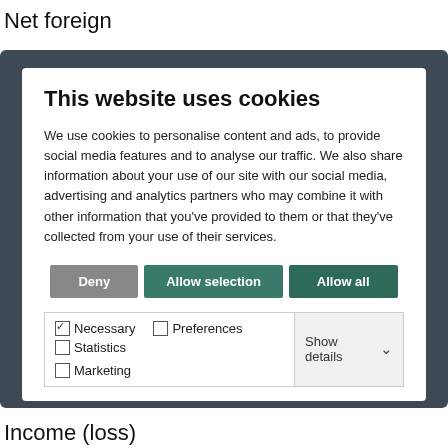Net foreign
[Figure (screenshot): Cookie consent dialog overlay with title 'This website uses cookies', body text about cookie usage, three buttons (Deny, Allow selection, Allow all), and checkboxes for Necessary, Preferences, Statistics, Marketing options with a Show details dropdown.]
underlying
net income
Income (loss)